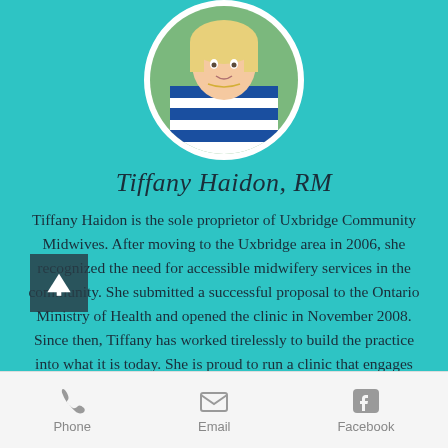[Figure (photo): Circular portrait photo of a blonde woman wearing a blue and white striped top, outdoors with green background]
Tiffany Haidon, RM
Tiffany Haidon is the sole proprietor of Uxbridge Community Midwives. After moving to the Uxbridge area in 2006, she recognized the need for accessible midwifery services in the community. She submitted a successful proposal to the Ontario Ministry of Health and opened the clinic in November 2008. Since then, Tiffany has worked tirelessly to build the practice into what it is today. She is proud to run a clinic that engages with the local
[Figure (other): Scroll-to-top button (dark square with upward arrow)]
Phone  Email  Facebook